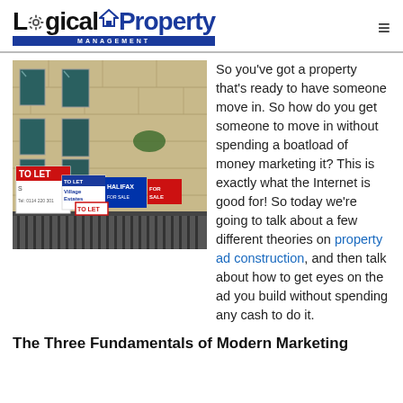Logical Property Management
[Figure (photo): Photograph of a stone building facade with multiple 'To Let' and 'For Sale' estate agency signs attached to railings in front]
So you've got a property that's ready to have someone move in. So how do you get someone to move in without spending a boatload of money marketing it? This is exactly what the Internet is good for! So today we're going to talk about a few different theories on property ad construction, and then talk about how to get eyes on the ad you build without spending any cash to do it.
The Three Fundamentals of Modern Marketing